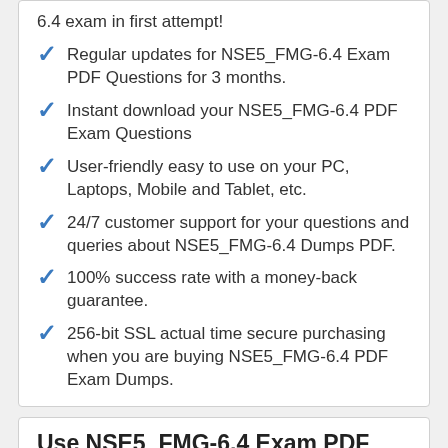6.4 exam in first attempt!
Regular updates for NSE5_FMG-6.4 Exam PDF Questions for 3 months.
Instant download your NSE5_FMG-6.4 PDF Exam Questions
User-friendly easy to use on your PC, Laptops, Mobile and Tablet, etc.
24/7 customer support for your questions and queries about NSE5_FMG-6.4 Dumps PDF.
100% success rate with a money-back guarantee.
256-bit SSL actual time secure purchasing when you are buying NSE5_FMG-6.4 PDF Exam Dumps.
Use NSE5_FMG-6.4 Exam PDF